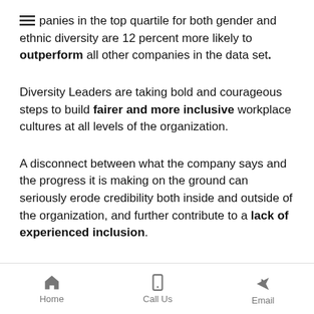panies in the top quartile for both gender and ethnic diversity are 12 percent more likely to outperform all other companies in the data set.
Diversity Leaders are taking bold and courageous steps to build fairer and more inclusive workplace cultures at all levels of the organization.
A disconnect between what the company says and the progress it is making on the ground can seriously erode credibility both inside and outside of the organization, and further contribute to a lack of experienced inclusion.
Home   Call Us   Email